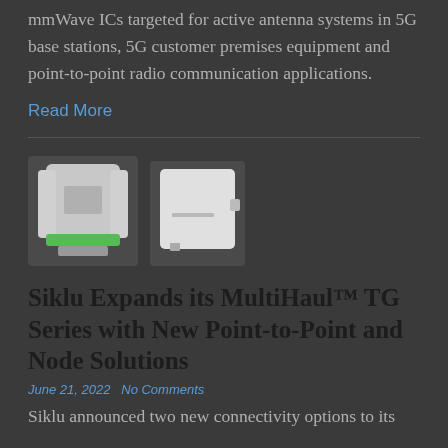mmWave ICs targeted for active antenna systems in 5G base stations, 5G customer premises equipment and point-to-point radio communication applications.
Read More
[Figure (photo): Two wireless networking devices: a MultiHaul TG unit with green accent on the left and a smaller square unit on the right, both on a dark background.]
Siklu Expands its MultiHaul™ TG Series with New Point-to-Point and Node Solutions
June 21, 2022   No Comments
Siklu announced two new connectivity options to its